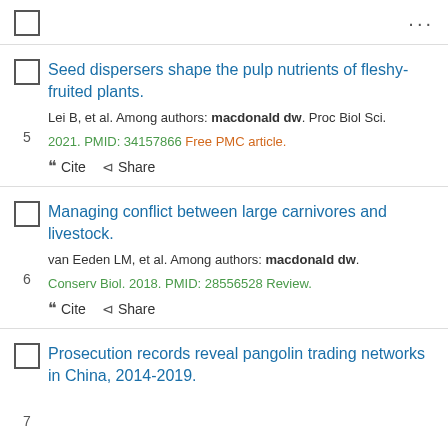...
Seed dispersers shape the pulp nutrients of fleshy-fruited plants. Lei B, et al. Among authors: macdonald dw. Proc Biol Sci. 2021. PMID: 34157866 Free PMC article.
Managing conflict between large carnivores and livestock. van Eeden LM, et al. Among authors: macdonald dw. Conserv Biol. 2018. PMID: 28556528 Review.
Prosecution records reveal pangolin trading networks in China, 2014-2019.